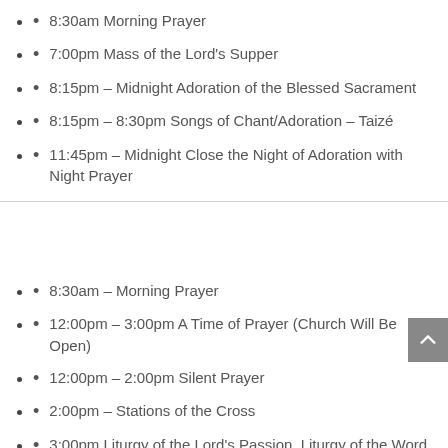8:30am Morning Prayer
7:00pm Mass of the Lord's Supper
8:15pm – Midnight Adoration of the Blessed Sacrament
8:15pm – 8:30pm Songs of Chant/Adoration – Taizé
11:45pm – Midnight Close the Night of Adoration with Night Prayer
8:30am – Morning Prayer
12:00pm – 3:00pm A Time of Prayer (Church Will Be Open)
12:00pm – 2:00pm Silent Prayer
2:00pm – Stations of the Cross
3:00pm Liturgy of the Lord's Passion, Liturgy of the Word, Veneration of the Cross, and Holy Communion